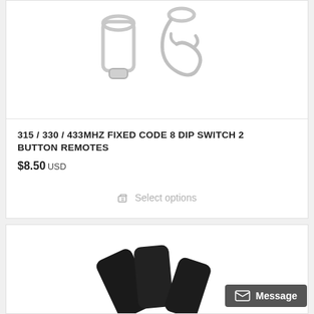[Figure (photo): Cropped photo of key fob hardware — silver metal swivel hook/clip visible against white background]
315 / 330 / 433MHZ FIXED CODE 8 DIP SWITCH 2 BUTTON REMOTES
$8.50 USD
Select options
[Figure (photo): Partial product photo showing black plastic remote controls / key fobs against white background]